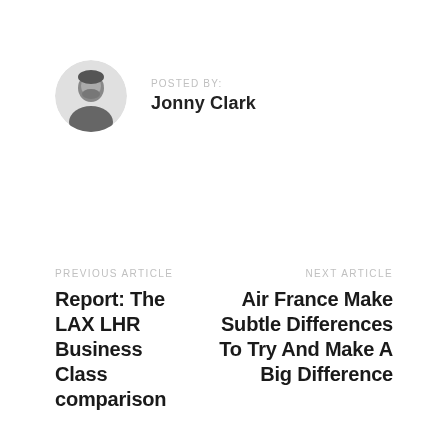[Figure (photo): Circular avatar photo of a man (Jonny Clark), black and white]
POSTED BY:
Jonny Clark
PREVIOUS ARTICLE
Report: The LAX LHR Business Class comparison
NEXT ARTICLE
Air France Make Subtle Differences To Try And Make A Big Difference